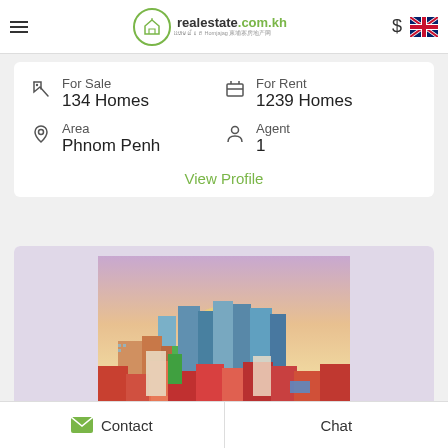realestate.com.kh
For Sale
134 Homes
For Rent
1239 Homes
Area
Phnom Penh
Agent
1
View Profile
[Figure (photo): Aerial cityscape photo of Phnom Penh showing colorful rooftops and buildings at sunset]
Phnom Penh
Contact   Chat